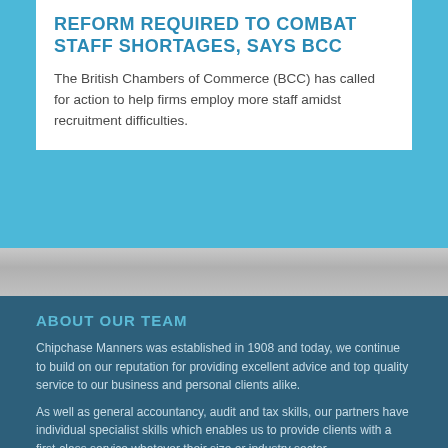REFORM REQUIRED TO COMBAT STAFF SHORTAGES, SAYS BCC
The British Chambers of Commerce (BCC) has called for action to help firms employ more staff amidst recruitment difficulties.
ABOUT OUR TEAM
Chipchase Manners was established in 1908 and today, we continue to build on our reputation for providing excellent advice and top quality service to our business and personal clients alike.
As well as general accountancy, audit and tax skills, our partners have individual specialist skills which enables us to provide clients with a first-class service whatever their size or industry sector.